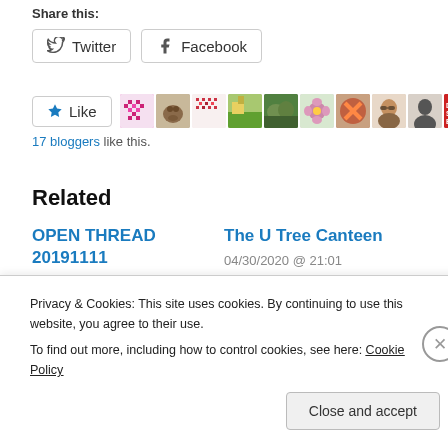Share this:
Twitter
Facebook
[Figure (illustration): Like button with star icon and several blogger avatar thumbnails]
17 bloggers like this.
Related
OPEN THREAD 20191111
11/11/2019 @ 00:01
In "Open Thread"
The U Tree Canteen
04/30/2020 @ 21:01
In "16-year plan"
Privacy & Cookies: This site uses cookies. By continuing to use this website, you agree to their use.
To find out more, including how to control cookies, see here: Cookie Policy